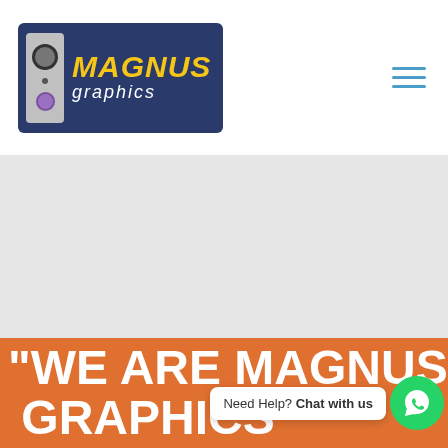[Figure (logo): Magnus Graphics logo: dark blue rounded rectangle containing a camera icon on the left and italic text MAGNUS in yellow bold italic and 'graphics' in white italic on the right]
[Figure (illustration): Hamburger menu icon with three horizontal teal/blue lines]
[Figure (photo): Large gray rectangular placeholder image area]
"WE ARE MAGNUS GRAPHICS"
Need Help? Chat with us
[Figure (illustration): WhatsApp green circle button with phone icon]